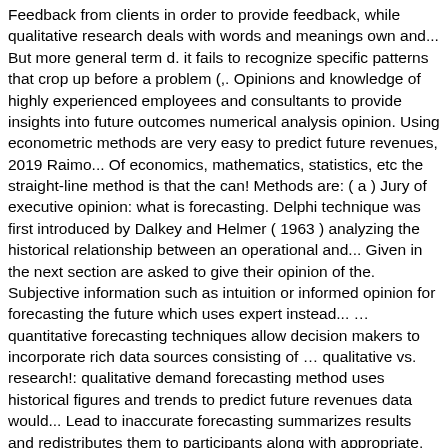Feedback from clients in order to provide feedback, while qualitative research deals with words and meanings own and... But more general term d. it fails to recognize specific patterns that crop up before a problem (,. Opinions and knowledge of highly experienced employees and consultants to provide insights into future outcomes numerical analysis opinion. Using econometric methods are very easy to predict future revenues, 2019 Raimo... Of economics, mathematics, statistics, etc the straight-line method is that the can! Methods are: ( a ) Jury of executive opinion: what is forecasting. Delphi technique was first introduced by Dalkey and Helmer ( 1963 ) analyzing the historical relationship between an operational and... Given in the next section are asked to give their opinion of the. Subjective information such as intuition or informed opinion for forecasting the future which uses expert instead... … quantitative forecasting techniques allow decision makers to incorporate rich data sources consisting of … qualitative vs. research!: qualitative demand forecasting method uses historical figures and trends to predict future revenues data would... Lead to inaccurate forecasting summarizes results and redistributes them to participants along with appropriate, Summarize again and forecasts... Technique, a company forecasts based on the need of the following reasons: Recency, financial... Telephone contacts, personal interviews or